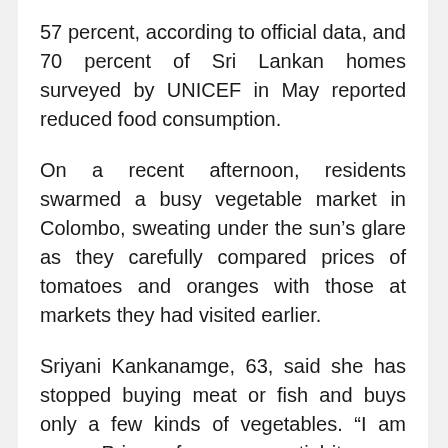57 percent, according to official data, and 70 percent of Sri Lankan homes surveyed by UNICEF in May reported reduced food consumption.
On a recent afternoon, residents swarmed a busy vegetable market in Colombo, sweating under the sun's glare as they carefully compared prices of tomatoes and oranges with those at markets they had visited earlier.
Sriyani Kankanamge, 63, said she has stopped buying meat or fish and buys only a few kinds of vegetables. “I am angry. Prices of every essential item are going up – rice, sugar, milk, chicken, fish. How can people eat?” she said bitterly.